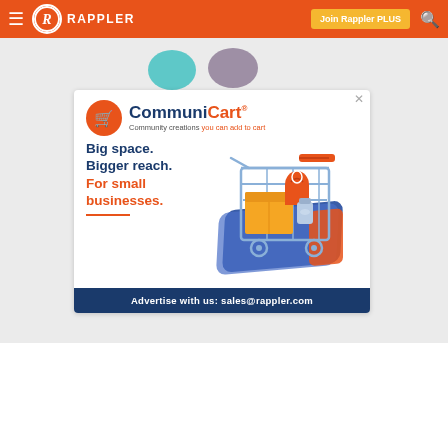≡ RAPPLER | Join Rappler PLUS 🔍
[Figure (illustration): CommuniCart advertisement showing shopping cart illustration with text: Big space. Bigger reach. For small businesses. Community creations you can add to cart. Advertise with us: sales@rappler.com]
Advertise with us: sales@rappler.com